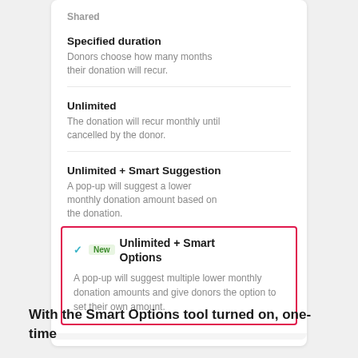[Figure (screenshot): A UI card showing donation recurrence options. Three options are listed: 'Specified duration', 'Unlimited', and 'Unlimited + Smart Suggestion'. A fourth option 'Unlimited + Smart Options' is highlighted with a red/pink border, a teal checkmark, and a green 'New' badge.]
With the Smart Options tool turned on, one-time